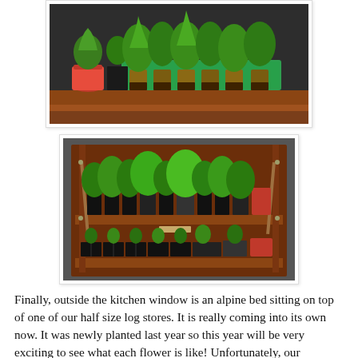[Figure (photo): Photo of potted seedling plants on a wooden shelf/bench. A red bucket and black square pot sit to the left, with a green tray holding multiple brown pots of tomato or vegetable seedlings on the right.]
[Figure (photo): Photo of a wooden plant stand/greenhouse shelf unit with multiple green seedlings in small black pots on the upper shelf and rows of black seedling trays on the lower shelf, plus a red pot on the right.]
Finally, outside the kitchen window is an alpine bed sitting on top of one of our half size log stores. It is really coming into its own now. It was newly planted last year so this year will be very exciting to see what each flower is like! Unfortunately, our neighbour feeds the birds every morning